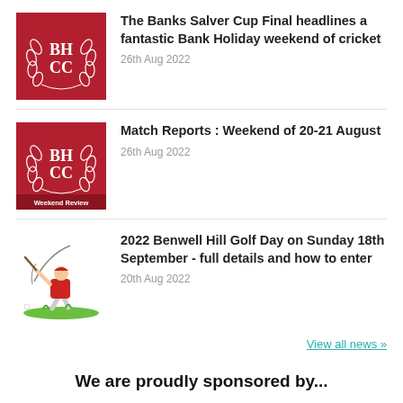[Figure (logo): BHCC cricket club logo - dark red background with BH CC text and laurel wreath]
The Banks Salver Cup Final headlines a fantastic Bank Holiday weekend of cricket
26th Aug 2022
[Figure (logo): BHCC Weekend Review logo - dark red background with BH CC text, laurel wreath, and Weekend Review label]
Match Reports : Weekend of 20-21 August
26th Aug 2022
[Figure (illustration): Cartoon golfer swinging a club, wearing red top and white trousers]
2022 Benwell Hill Golf Day on Sunday 18th September - full details and how to enter
20th Aug 2022
View all news »
We are proudly sponsored by...